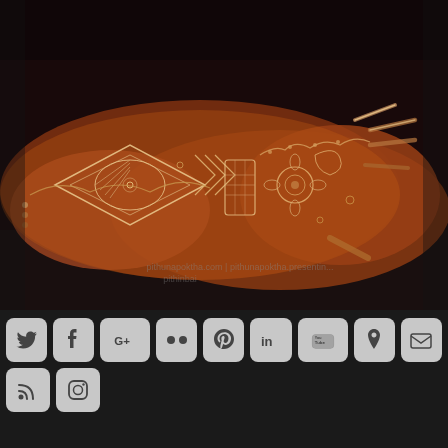[Figure (photo): A hand and forearm covered in intricate dark reddish-brown henna/mehndi tattoo designs with detailed geometric and floral patterns. The hand is extended outward against a dark background. A watermark text is visible in the lower portion of the image.]
[Figure (infographic): Row of social media icon buttons on dark background: Twitter, Facebook, Google+, Flickr, Pinterest, LinkedIn, YouTube, Google Maps/Location, Email/Envelope. Second row: RSS feed, Instagram.]